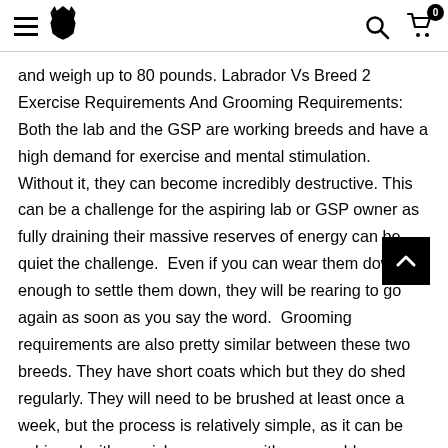Navigation header with hamburger menu, wolf logo, search icon, and cart icon with badge 0
and weigh up to 80 pounds. Labrador Vs Breed 2 Exercise Requirements And Grooming Requirements: Both the lab and the GSP are working breeds and have a high demand for exercise and mental stimulation. Without it, they can become incredibly destructive. This can be a challenge for the aspiring lab or GSP owner as fully draining their massive reserves of energy can be quiet the challenge.  Even if you can wear them down enough to settle them down, they will be rearing to go again as soon as you say the word.  Grooming requirements are also pretty similar between these two breeds. They have short coats which but they do shed regularly. They will need to be brushed at least once a week, but the process is relatively simple, as it can be achieved with a quick once over with some rubber grooming mitts or a firm hair bristle brush.  Labrador Vs